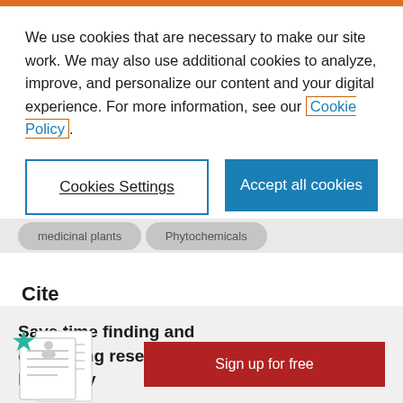We use cookies that are necessary to make our site work. We may also use additional cookies to analyze, improve, and personalize our content and your digital experience. For more information, see our Cookie Policy.
[Figure (other): Two buttons: 'Cookies Settings' (outlined) and 'Accept all cookies' (solid teal)]
medicinal plants   Phytochemicals
Cite
Save time finding and organizing research with Mendeley
[Figure (illustration): Mendeley illustration with teal star and document icons]
Sign up for free